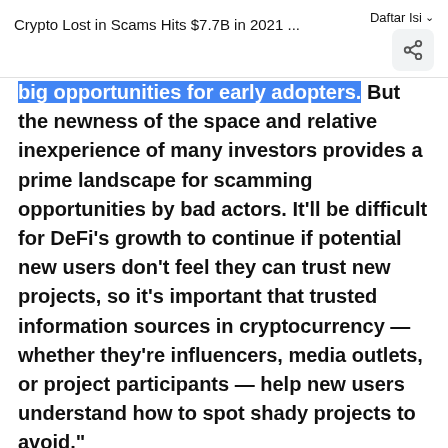Crypto Lost in Scams Hits $7.7B in 2021 ...  Daftar Isi
big opportunities for early adopters. But the newness of the space and relative inexperience of many investors provides a prime landscape for scamming opportunities by bad actors. It'll be difficult for DeFi's growth to continue if potential new users don't feel they can trust new projects, so it's important that trusted information sources in cryptocurrency — whether they're influencers, media outlets, or project participants — help new users understand how to spot shady projects to avoid."